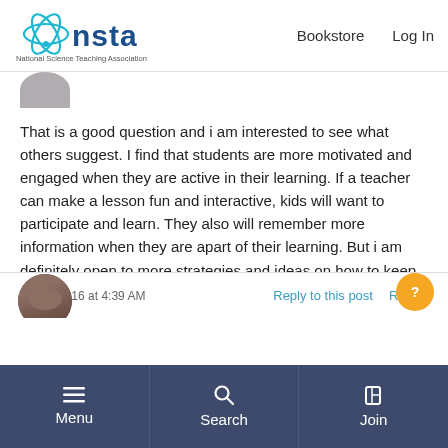NSTA - National Science Teaching Association | Bookstore | Log In
[Figure (logo): NSTA logo with teal atom graphic and text 'nsta' and tagline 'National Science Teaching Association']
That is a good question and i am interested to see what others suggest. I find that students are more motivated and engaged when they are active in their learning. If a teacher can make a lesson fun and interactive, kids will want to participate and learn. They also will remember more information when they are apart of their learning. But i am definitely open to more strategies and ideas on how to keep students motivated.
Dec 6, 2016 at 4:39 AM
Reply to this post   Report
Menu   Search   Join